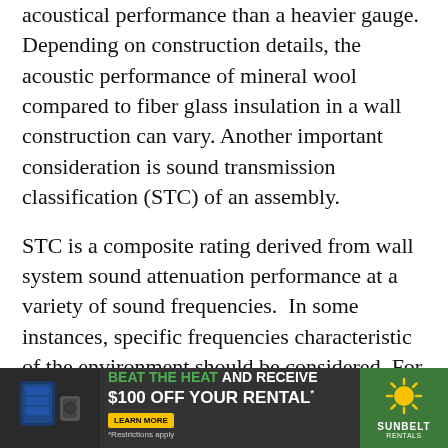acoustical performance than a heavier gauge. Depending on construction details, the acoustic performance of mineral wool compared to fiber glass insulation in a wall construction can vary. Another important consideration is sound transmission classification (STC) of an assembly.
STC is a composite rating derived from wall system sound attenuation performance at a variety of sound frequencies.  In some instances, specific frequencies characteristic of the environment should be considered. For example, conversation and general activity in a public space such as a cafeteria will have different frequencies compared to heart rate monitors and IV pumps in a patient's room or NICU
[Figure (infographic): Advertisement banner for Sunbelt Rentals: 'BEAT THE HEAT AND RECEIVE $100 OFF YOUR RENTAL* LEARN MORE *Restrictions apply' with image of HVAC equipment and Sunbelt Rentals logo]